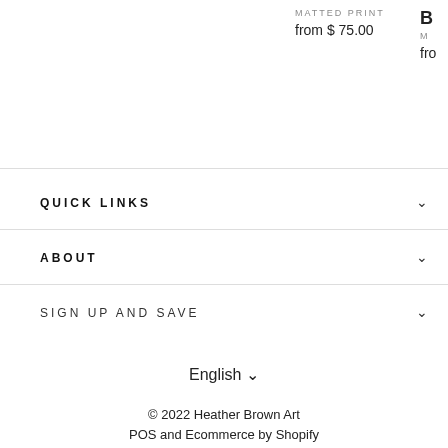MATTED PRINT
from $ 75.00
B
M
fro
QUICK LINKS
ABOUT
SIGN UP AND SAVE
English ∨
© 2022 Heather Brown Art
POS and Ecommerce by Shopify